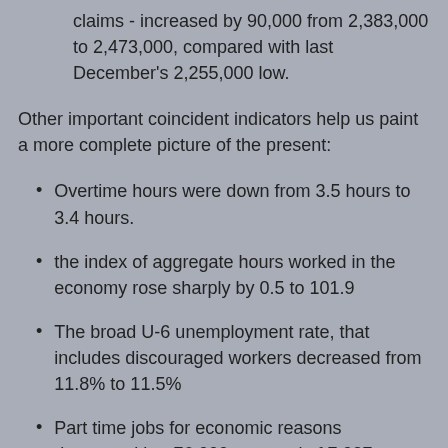claims - increased by 90,000 from 2,383,000 to 2,473,000, compared with last December's 2,255,000 low.
Other important coincident indicators help us paint a more complete picture of the present:
Overtime hours were down from 3.5 hours to 3.4 hours.
the index of aggregate hours worked in the economy rose sharply by 0.5 to 101.9
The broad U-6 unemployment rate, that includes discouraged workers decreased from 11.8% to 11.5%
Part time jobs for economic reasons decreased by -76,000 to a total of 7.027 million.
Othe...